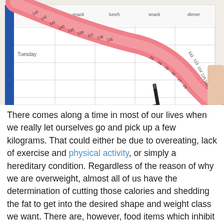[Figure (photo): A pink measuring tape curled over a diet/meal planning notebook open to a weekly planner with columns for breakfast, snack, lunch, snack, dinner. A black marker pen rests on the notebook. A person's fingers are visible at the right edge. The notebook shows days including Tuesday.]
There comes along a time in most of our lives when we really let ourselves go and pick up a few kilograms. That could either be due to overeating, lack of exercise and physical activity, or simply a hereditary condition. Regardless of the reason of why we are overweight, almost all of us have the determination of cutting those calories and shedding the fat to get into the desired shape and weight class we want. There are, however, food items which inhibit our capabilities to cut down those extra kilos of weight and grains happen to be one of those foods. There are numerous reasons as to why consumption of grains has a negative effect on your desired weight loss and that's